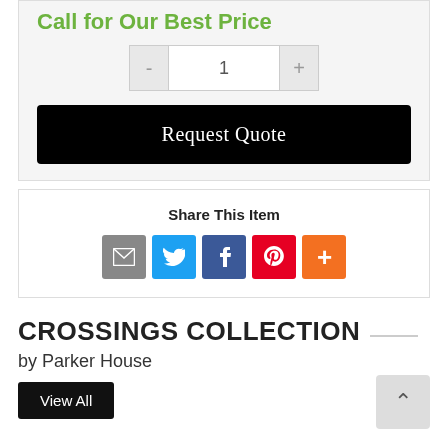Call for Our Best Price
[Figure (screenshot): Quantity selector with minus button, input showing 1, and plus button]
Request Quote
Share This Item
[Figure (infographic): Social share icons: email (gray), Twitter (blue), Facebook (dark blue), Pinterest (red), More (orange)]
CROSSINGS COLLECTION
by Parker House
View All